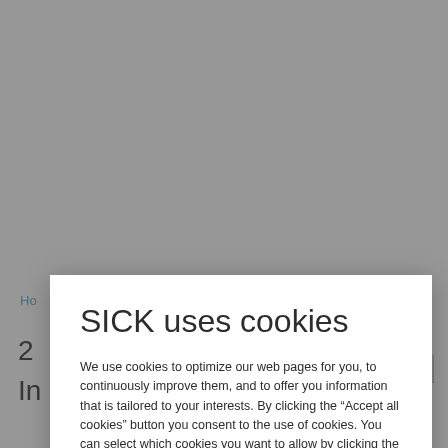SICK uses cookies
We use cookies to optimize our web pages for you, to continuously improve them, and to offer you information that is tailored to your interests. By clicking the “Accept all cookies” button you consent to the use of cookies. You can select which cookies you want to allow by clicking the “Show settings for cookies” button. For further information, please see our privacy policy.
Show settings for
Only technically
Accept all